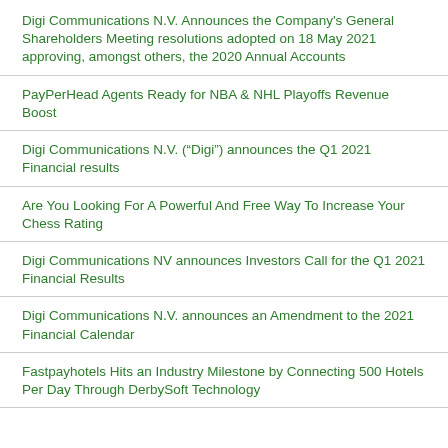Digi Communications N.V. Announces the Company's General Shareholders Meeting resolutions adopted on 18 May 2021 approving, amongst others, the 2020 Annual Accounts
PayPerHead Agents Ready for NBA & NHL Playoffs Revenue Boost
Digi Communications N.V. (“Digi”) announces the Q1 2021 Financial results
Are You Looking For A Powerful And Free Way To Increase Your Chess Rating
Digi Communications NV announces Investors Call for the Q1 2021 Financial Results
Digi Communications N.V. announces an Amendment to the 2021 Financial Calendar
Fastpayhotels Hits an Industry Milestone by Connecting 500 Hotels Per Day Through DerbySoft Technology